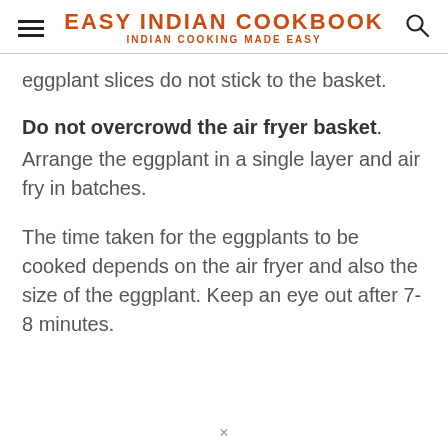EASY INDIAN COOKBOOK — INDIAN COOKING MADE EASY
eggplant slices do not stick to the basket.
Do not overcrowd the air fryer basket. Arrange the eggplant in a single layer and air fry in batches.
The time taken for the eggplants to be cooked depends on the air fryer and also the size of the eggplant. Keep an eye out after 7-8 minutes.